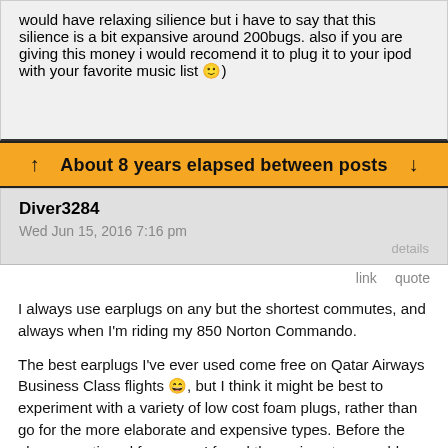would have relaxing silience but i have to say that this silience is a bit expansive around 200bugs. also if you are giving this money i would recomend it to plug it to your ipod with your favorite music list 🙂)
About 8 years elapsed between posts
Diver3284
Wed Jun 15, 2016 7:16 pm
details
link   quote
I always use earplugs on any but the shortest commutes, and always when I'm riding my 850 Norton Commando.
The best earplugs I've ever used come free on Qatar Airways Business Class flights 😄, but I think it might be best to experiment with a variety of low cost foam plugs, rather than go for the more elaborate and expensive types. Before the above mentioned free ones I found the various types sold under the "Hearos" brand were excellent value for money.
The Aus. ebay site